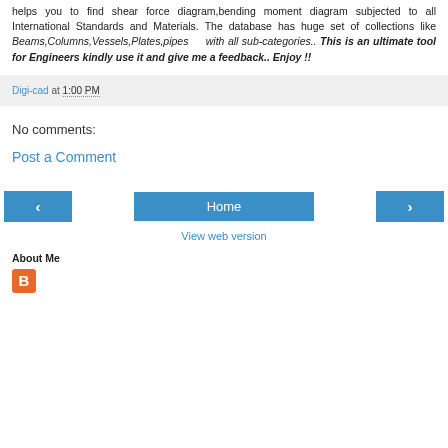helps you to find shear force diagram,bending moment diagram subjected to all International Standards and Materials. The database has huge set of collections like Beams,Columns,Vessels,Plates,pipes with all sub-categories.. This is an ultimate tool for Engineers kindly use it and give me a feedback.. Enjoy !!
Digi-cad at 1:00 PM
No comments:
Post a Comment
Home
View web version
About Me